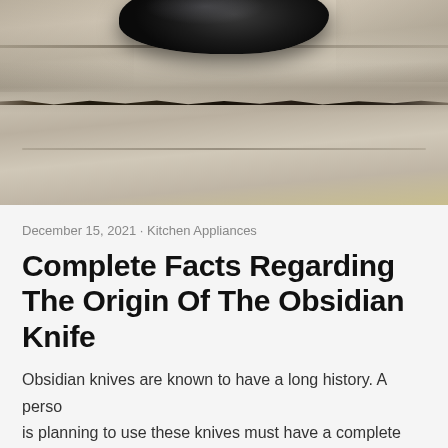[Figure (photo): Close-up photograph of a dark black obsidian rock or stone resting on rough limestone or sandstone flat stones, with a visible crack running horizontally across the stone surface below the obsidian piece.]
December 15, 2021 · Kitchen Appliances
Complete Facts Regarding The Origin Of The Obsidian Knife
Obsidian knives are known to have a long history. A person is planning to use these knives must have a complete idea regarding the facts related to the knives so that they can make